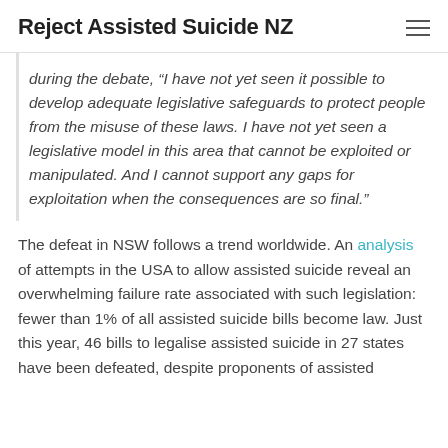Reject Assisted Suicide NZ
during the debate, “I have not yet seen it possible to develop adequate legislative safeguards to protect people from the misuse of these laws. I have not yet seen a legislative model in this area that cannot be exploited or manipulated. And I cannot support any gaps for exploitation when the consequences are so final.”
The defeat in NSW follows a trend worldwide. An analysis of attempts in the USA to allow assisted suicide reveal an overwhelming failure rate associated with such legislation: fewer than 1% of all assisted suicide bills become law. Just this year, 46 bills to legalise assisted suicide in 27 states have been defeated, despite proponents of assisted